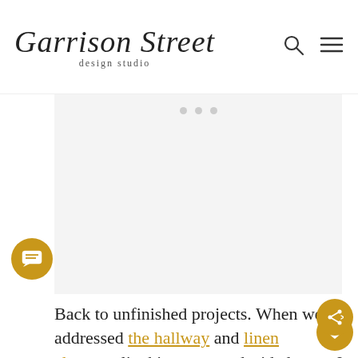Garrison Street design studio
[Figure (other): Image slider placeholder area with three dot navigation indicators on a light gray background]
Back to unfinished projects. When we addressed the hallway and linen closet earlier this year, we decided to replace all the doors in our upstairs as well. But as you can see, the inside trim around the door has yet to be